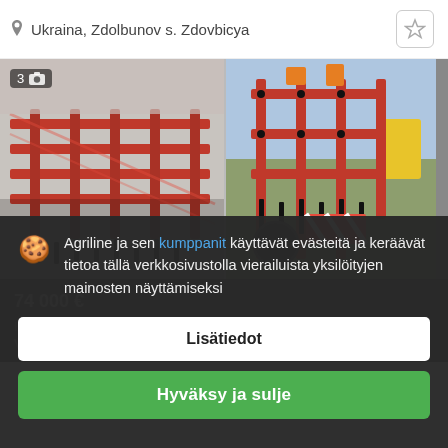Ukraina, Zdolbunov s. Zdovbicya
[Figure (photo): Two red agricultural cultivator/harrow machines shown side by side in a gallery. Left image shows a red cultivator from above on white background with photo count badge '3'. Right image shows a red multi-row cultivator outdoors against a field and sky background.]
74 000 €
Kultivaattorit
Vuosi 2022
Agriline ja sen kumppanit käyttävät evästeitä ja keräävät tietoa tällä verkkosivustolla vierailuista yksilöityjen mainosten näyttämiseksi
Lisätiedot
Hyväksy ja sulje